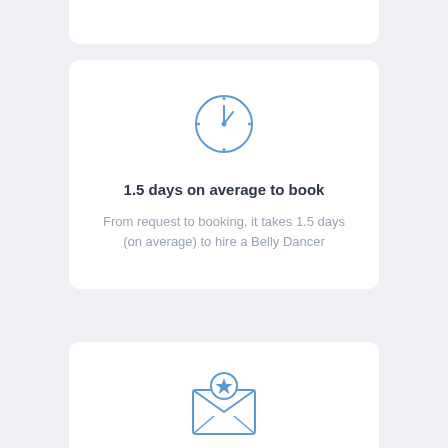[Figure (illustration): Blue outline clock icon showing approximately 1 o'clock]
1.5 days on average to book
From request to booking, it takes 1.5 days (on average) to hire a Belly Dancer
[Figure (illustration): Blue outline envelope icon with a star badge on it, open envelope showing letter inside]
Tennessee ranks #21
for Belly Dancer requests in